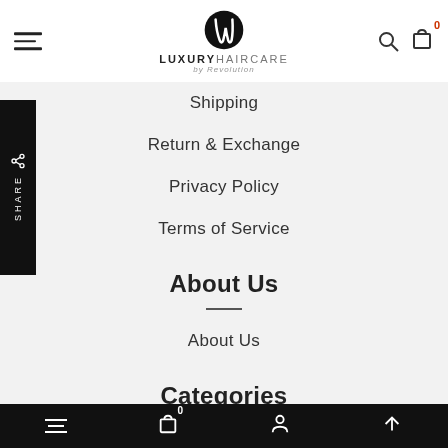LUXURYHAIRCARE by Revolution
Shipping
Return & Exchange
Privacy Policy
Terms of Service
About Us
About Us
Categories
0 (cart) | account | up